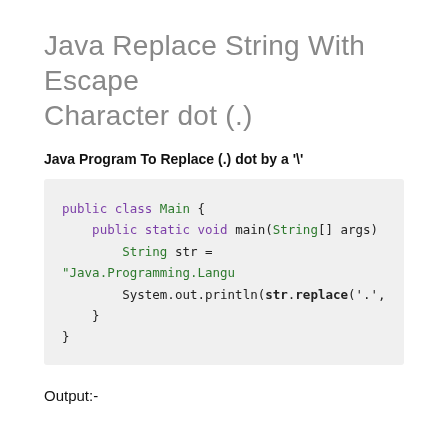Java Replace String With Escape Character dot (.)
Java Program To Replace (.) dot by a '\''
[Figure (screenshot): Java code snippet showing a public class Main with a main method that replaces dots in a string using str.replace('.', ...)]
Output:-